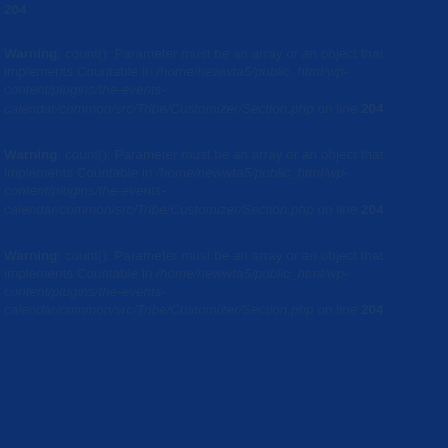204
Warning: count(): Parameter must be an array or an object that implements Countable in /home/newwta5/public_html/wp-content/plugins/the-events-calendar/common/src/Tribe/Customizer/Section.php on line 204
Warning: count(): Parameter must be an array or an object that implements Countable in /home/newwta5/public_html/wp-content/plugins/the-events-calendar/common/src/Tribe/Customizer/Section.php on line 204
Warning: count(): Parameter must be an array or an object that implements Countable in /home/newwta5/public_html/wp-content/plugins/the-events-calendar/common/src/Tribe/Customizer/Section.php on line 204